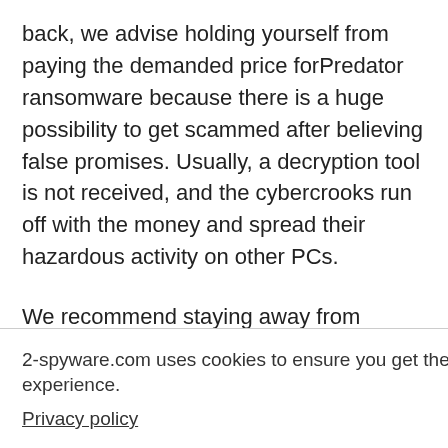back, we advise holding yourself from paying the demanded price forPredator ransomware because there is a huge possibility to get scammed after believing false promises. Usually, a decryption tool is not received, and the cybercrooks run off with the money and spread their hazardous activity on other PCs.
We recommend staying away from contacting the developers of this ransomware virus and thinking about another option to recover encrypted data. First of all, you should remove Predator ransomware by downloading a professional anti-malware tool. Try using Reimage or any other similar one. Additionally, for the decryption of your files, we suggest using trustworthy decryptors. Several ... To keep your ... saving extra ... e or another
2-spyware.com uses cookies to ensure you get the best experience.
Privacy policy
Agree